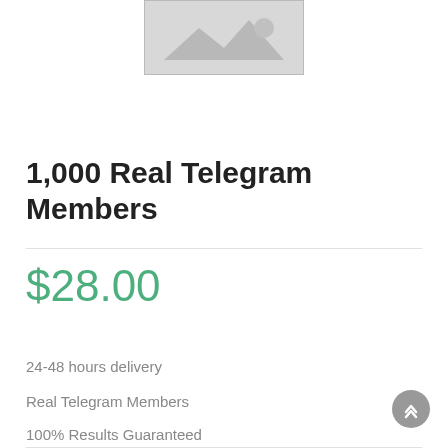[Figure (illustration): Placeholder image thumbnail with grey background and mountain/image icon]
1,000 Real Telegram Members
$28.00
24-48 hours delivery
Real Telegram Members
100% Results Guaranteed